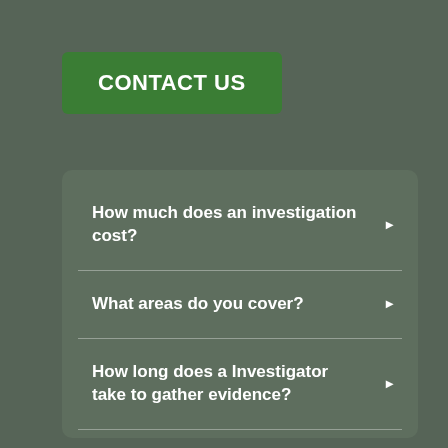CONTACT US
How much does an investigation cost?
What areas do you cover?
How long does a Investigator take to gather evidence?
Do you accept credit cards?